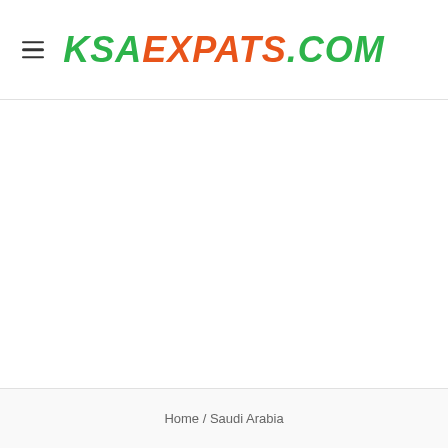KSAEXPATS.COM
Home / Saudi Arabia